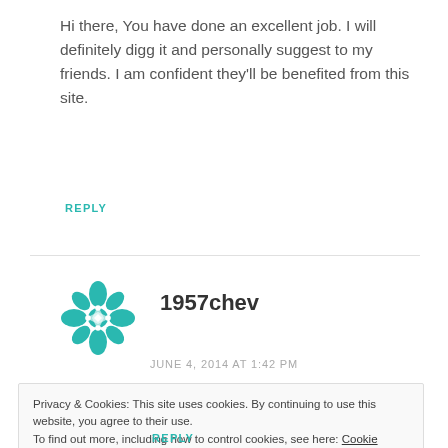Hi there, You have done an excellent job. I will definitely digg it and personally suggest to my friends. I am confident they'll be benefited from this site.
REPLY
[Figure (logo): Teal geometric flower/snowflake avatar icon for user 1957chev]
1957chev
JUNE 4, 2014 AT 1:42 PM
Privacy & Cookies: This site uses cookies. By continuing to use this website, you agree to their use. To find out more, including how to control cookies, see here: Cookie Policy
Close and accept
REPLY